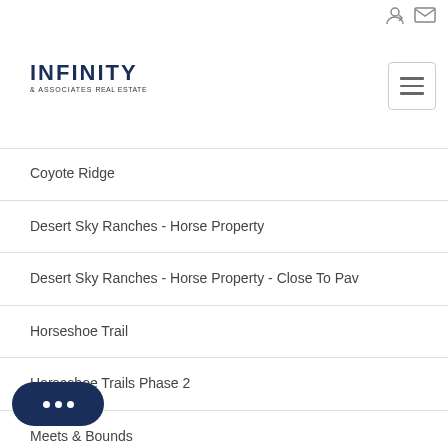Infinity & Associates Real Estate — navigation header with icons and hamburger menu
[Figure (logo): Infinity & Associates Real Estate logo — INFINITY in large dark navy bold uppercase, & ASSOCIATES REAL ESTATE in smaller text below]
Coyote Ridge
Desert Sky Ranches - Horse Property
Desert Sky Ranches - Horse Property - Close To Pav
Horseshoe Trail
Horseshoe Trails Phase 2
Meets & Bounds
...Bounds
Minor Subdivision (partial, cut off)